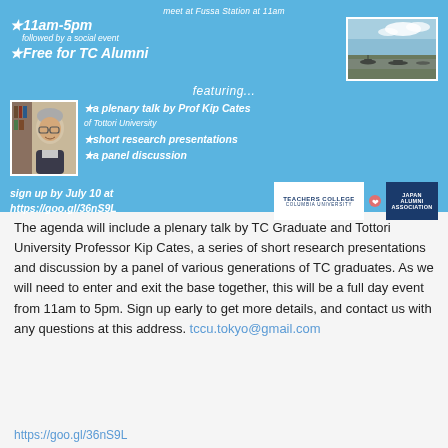[Figure (infographic): Blue banner event flyer for Teachers College Columbia University Japan Alumni Association. Contains text about an event: meet at Fussa Station at 11am, 11am-5pm followed by a social event, Free for TC Alumni, featuring a plenary talk by Prof Kip Cates of Tottori University, short research presentations, a panel discussion. Sign up by July 10 at https://goo.gl/36nS9L. Includes a photo of an airbase/airfield and a photo of Prof Kip Cates. Shows Teachers College Columbia University and Japan Alumni Association logos.]
The agenda will include a plenary talk by TC Graduate and Tottori University Professor Kip Cates, a series of short research presentations and discussion by a panel of various generations of TC graduates. As we will need to enter and exit the base together, this will be a full day event from 11am to 5pm. Sign up early to get more details, and contact us with any questions at this address. tccu.tokyo@gmail.com
https://goo.gl/36nS9L